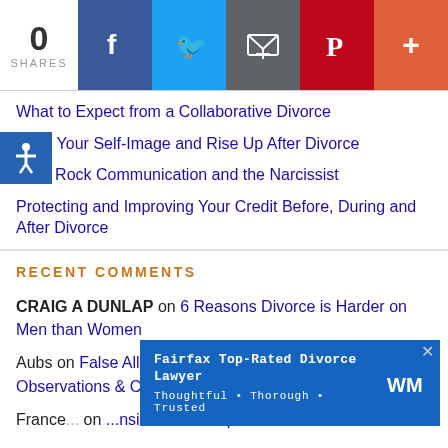[Figure (other): Social share bar with count 0 SHARES and buttons for Facebook, Twitter, Email, Pinterest, and More]
What to Expect from a Collaborative Divorce
Rock Your Self-Image and Rise Up After Divorce
Grey Rock Communication and the Narcissist
Protecting and Improving Your Credit Before, During and After Divorce
RECENT COMMENTS
CRAIG A DUNLAP on 6 Reasons Divorce is Harder on Men than Women
Aubs on False Allegations in Custody Cases: Questions, Observations & Comments
France... on ...insider if Your Spouse Has Cheated
[Figure (infographic): Ad banner: Fairfax Top-Rated Divorce Lawyer — Thoughtful • Thorough • Trusted with WM logo and close button]